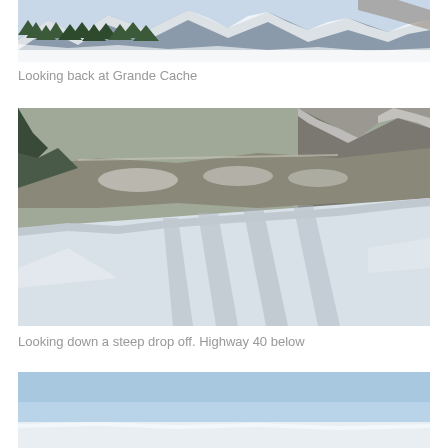[Figure (photo): Snowy mountain landscape with evergreen trees, looking back at Grande Cache]
Looking back at Grande Cache
[Figure (photo): Looking down a steep snowy drop off with Highway 40 visible in the valley below, mountain ridges in background]
Looking down a steep drop off. Highway 40 below
[Figure (photo): Snowy landscape with bright blue sky, partially visible at bottom of page]